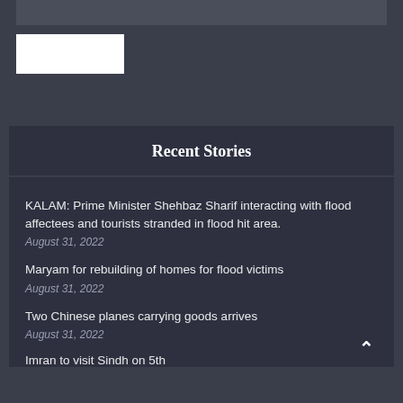[Figure (screenshot): Email address input bar (dark gray, partially visible at top)]
[Figure (screenshot): White subscribe button below email input]
Recent Stories
KALAM: Prime Minister Shehbaz Sharif interacting with flood affectees and tourists stranded in flood hit area.
August 31, 2022
Maryam for rebuilding of homes for flood victims
August 31, 2022
Two Chinese planes carrying goods arrives
August 31, 2022
Imran to visit Sindh on 5th